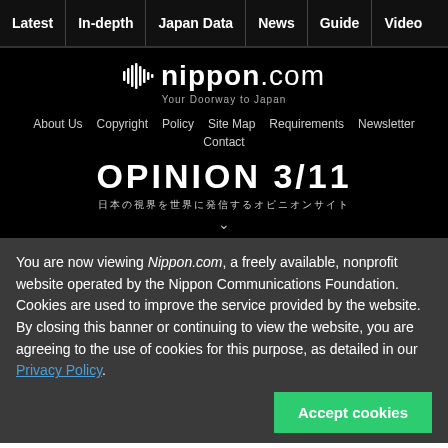Latest | In-depth | Japan Data | News | Guide | Video
[Figure (logo): nippon.com logo with soundwave icon and tagline 'Your Doorway to Japan']
About Us  Copyright  Policy  Site Map  Requirements  Newsletter
Contact
OPINION 3/11
日本の視界を世界に発信するオピニオンサイト
You are now viewing Nippon.com, a freely available, nonprofit website operated by the Nippon Communications Foundation. Cookies are used to improve the service provided by the website. By closing this banner or continuing to view the website, you are agreeing to the use of cookies for this purpose, as detailed in our Privacy Policy.
Accept cookies